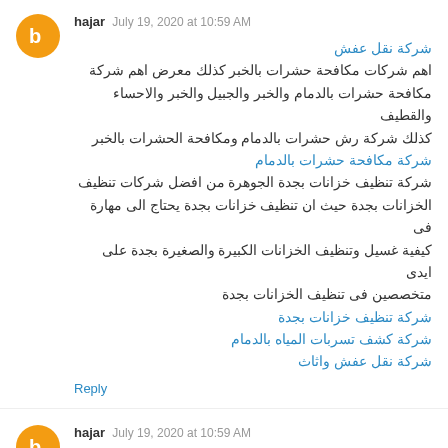hajar July 19, 2020 at 10:59 AM
شركة نقل عفش
اهم شركات مكافحة حشرات بالخبر كذلك معرض اهم شركة مكافحة حشرات بالدمام والخبر والجبيل والخبر والاحساء والقطيف كذلك شركة رش حشرات بالدمام ومكافحة الحشرات بالخبر
شركة مكافحة حشرات بالدمام
شركة تنظيف خزانات بجدة الجوهرة من افضل شركات تنظيف الخزانات بجدة حيث ان تنظيف خزانات بجدة يحتاج الى مهارة فى كيفية غسيل وتنظيف الخزانات الكبيرة والصغيرة بجدة على ايدى متخصصين فى تنظيف الخزانات بجدة
شركة تنظيف خزانات بجدة
شركة كشف تسربات المياه بالدمام
شركة نقل عفش واثاث
Reply
hajar July 19, 2020 at 10:59 AM